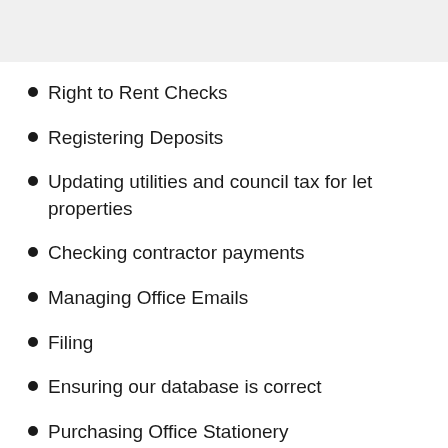Right to Rent Checks
Registering Deposits
Updating utilities and council tax for let properties
Checking contractor payments
Managing Office Emails
Filing
Ensuring our database is correct
Purchasing Office Stationery
Anti-money laundering